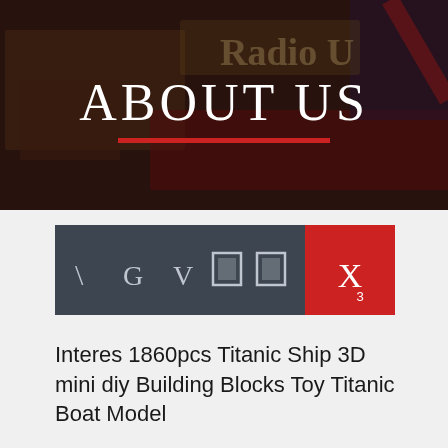[Figure (photo): Dark background image showing vintage signs and Radio U signage with 'ABOUT US' text overlay and red underline]
[Figure (screenshot): Dark grey navigation bar with icons/letters: backslash, G, V, two box icons, and X with subscript 3 in red highlighted box]
Interes 1860pcs Titanic Ship 3D mini diy Building Blocks Toy Titanic Boat Model